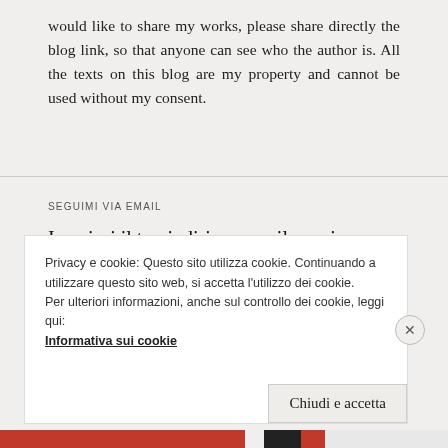would like to share my works, please share directly the blog link, so that anyone can see who the author is. All the texts on this blog are my property and cannot be used without my consent.
SEGUIMI VIA EMAIL
Inserisci il tuo indirizzo email per ricevere le notifiche dei nuovi articoli.
Privacy e cookie: Questo sito utilizza cookie. Continuando a utilizzare questo sito web, si accetta l'utilizzo dei cookie. Per ulteriori informazioni, anche sul controllo dei cookie, leggi qui: Informativa sui cookie
Chiudi e accetta